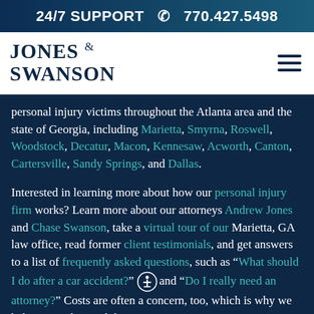24/7 SUPPORT  770.427.5498
[Figure (logo): Jones & Swanson law firm logo with hamburger menu icon]
personal injury victims throughout the Atlanta area and the state of Georgia, including Marietta, Smyrna, Roswell, Woodstock, Decatur, Macon, Kennesaw, Acworth, Canton, Cartersville, Sandy Springs, and Dallas.
Interested in learning more about how our personal injury firm works? Learn more about our attorneys Andrew Jones and Chase Swanson, take a virtual tour of our Marietta, GA law office, read former client testimonials, and get answers to a list of frequently asked questions, such as "What should I do after a car accident?" and "Do I really need an attorney?" Costs are often a concern, too, which is why we help you understand the